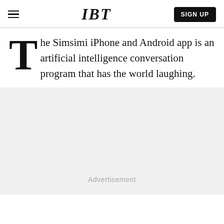IBT
The Simsimi iPhone and Android app is an artificial intelligence conversation program that has the world laughing.
[Figure (other): Advertisement placeholder area with light gray background and 'Advertisement' label]